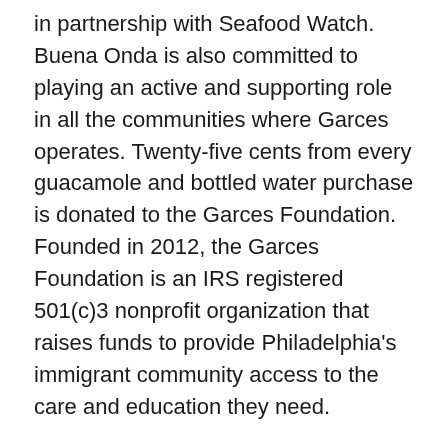in partnership with Seafood Watch. Buena Onda is also committed to playing an active and supporting role in all the communities where Garces operates. Twenty-five cents from every guacamole and bottled water purchase is donated to the Garces Foundation. Founded in 2012, the Garces Foundation is an IRS registered 501(c)3 nonprofit organization that raises funds to provide Philadelphia's immigrant community access to the care and education they need.
Share the good vibes on social media with hashtag #GarcesGoodVibes and by following Buena Onda at @BuenaOndaTacos, Chef Jose Garces at @ChefJoseGarces and Garces Group at @GarcesGroup. For more information and to place an order, visit www.buenaondatacos.com.